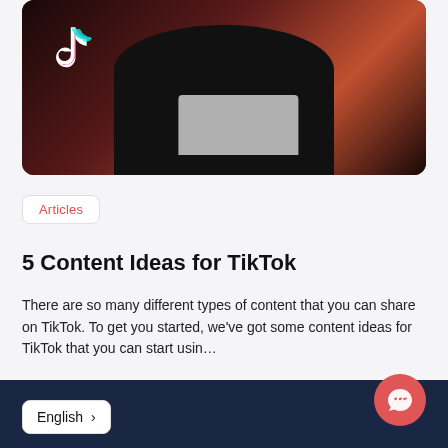[Figure (photo): Person in black t-shirt sitting with a laptop in a dark pink/red lit room with TikTok logo visible in the background]
Articles
5 Content Ideas for TikTok
There are so many different types of content that you can share on TikTok. To get you started, we've got some content ideas for TikTok that you can start usin…
Read more >
English >